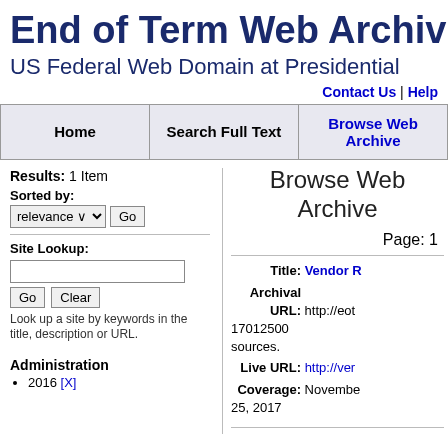End of Term Web Archive
US Federal Web Domain at Presidential
Contact Us | Help
| Home | Search Full Text | Browse Web Archive |
| --- | --- | --- |
Results: 1 Item
Browse Web Archive
Page: 1
Sorted by: relevance Go
Site Lookup:
Go  Clear
Look up a site by keywords in the title, description or URL.
Administration
2016 [X]
Title: Vendor
Archival URL: http://eot...17012500...sources.
Live URL: http://ver...
Coverage: November 25, 2017